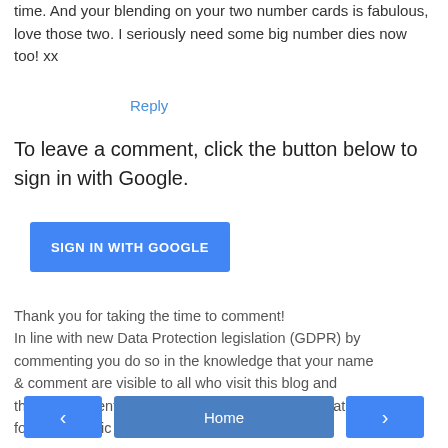time. And your blending on your two number cards is fabulous, love those two. I seriously need some big number dies now too! xx
Reply
To leave a comment, click the button below to sign in with Google.
[Figure (other): Blue button labeled SIGN IN WITH GOOGLE]
Thank you for taking the time to comment! In line with new Data Protection legislation (GDPR) by commenting you do so in the knowledge that your name & comment are visible to all who visit this blog and thereby consent to the use of that personal information for that specific purpose.
[Figure (other): Navigation bar with previous arrow button, Home button, and next arrow button]